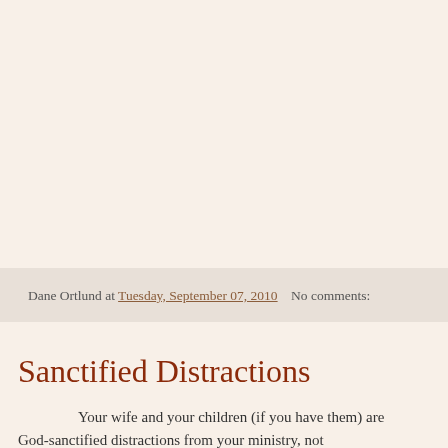Dane Ortlund at Tuesday, September 07, 2010    No comments:
Sanctified Distractions
Your wife and your children (if you have them) are God-sanctified distractions from your ministry, not...